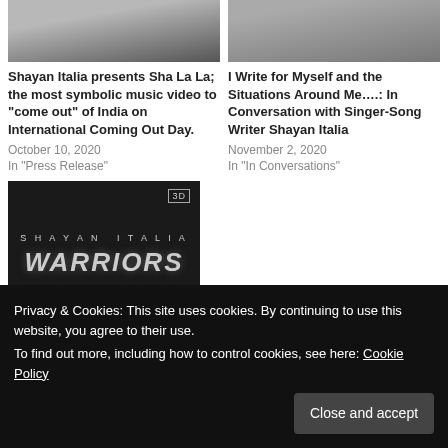[Figure (photo): Partial photo of person in dark clothing, top of article card]
Shayan Italia presents Sha La La; the most symbolic music video to “come out” of India on International Coming Out Day.
October 10, 2020
In "Press Release"
[Figure (photo): Partial photo of person in white/grey clothing, top of article card]
I Write for Myself and the Situations Around Me….: In Conversation with Singer-Song Writer Shayan Italia
November 2, 2020
In "In Conversations"
[Figure (photo): Dark promotional image showing 'SHAYAN ITALIA WARRIORS' text with 3D label]
Privacy & Cookies: This site uses cookies. By continuing to use this website, you agree to their use.
To find out more, including how to control cookies, see here: Cookie Policy
Close and accept